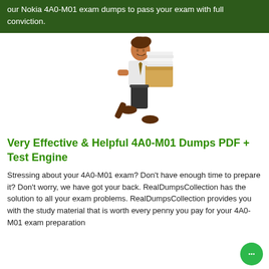our Nokia 4A0-M01 exam dumps to pass your exam with full conviction.
[Figure (illustration): Cartoon illustration of a businessman running while carrying a large stack of papers/documents on a box]
Very Effective & Helpful 4A0-M01 Dumps PDF + Test Engine
Stressing about your 4A0-M01 exam? Don't have enough time to prepare it? Don't worry, we have got your back. RealDumpsCollection has the solution to all your exam problems. RealDumpsCollection provides you with the study material that is worth every penny you pay for your 4A0-M01 exam preparation